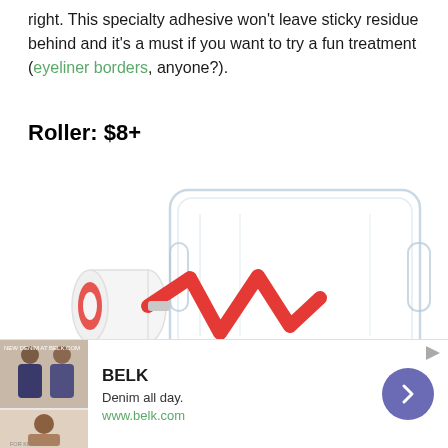right. This specialty adhesive won't leave sticky residue behind and it's a must if you want to try a fun treatment (eyeliner borders, anyone?).
Roller: $8+
[Figure (photo): A white paint roller with red handle/stripe and a clear plastic paint tray, shown on white background.]
[Figure (screenshot): Advertisement banner for BELK: 'Denim all day. www.belk.com' with thumbnail images of people and a purple navigation arrow button.]